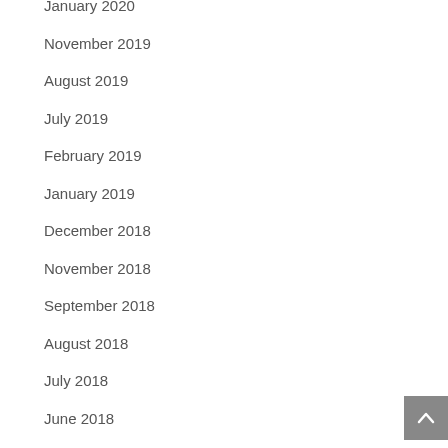January 2020
November 2019
August 2019
July 2019
February 2019
January 2019
December 2018
November 2018
September 2018
August 2018
July 2018
June 2018
February 2017
September 2016
August 2016